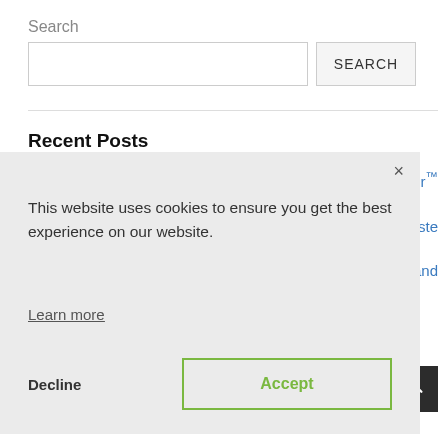Search
[Figure (screenshot): Search input field and SEARCH button]
Recent Posts
ter™
aste
and
[Figure (screenshot): Cookie consent overlay with close button (×), text 'This website uses cookies to ensure you get the best experience on our website.', 'Learn more' link, 'Decline' button, and 'Accept' button with green border]
Research and Development Tax Credits (R&D)